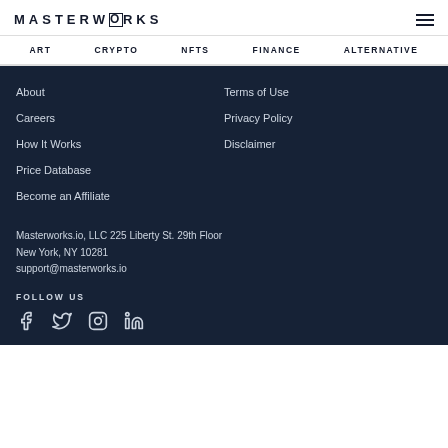MASTERWORKS
ART
CRYPTO
NFTS
FINANCE
ALTERNATIVE
About
Terms of Use
Careers
Privacy Policy
How It Works
Disclaimer
Price Database
Become an Affiliate
Masterworks.io, LLC 225 Liberty St. 29th Floor
New York, NY 10281
support@masterworks.io
FOLLOW US
[Figure (infographic): Social media icons: Facebook, Twitter, Instagram, LinkedIn]